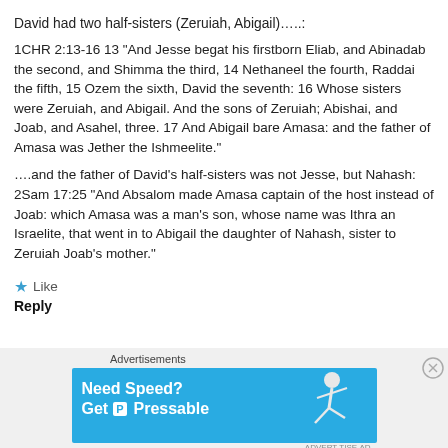David had two half-sisters (Zeruiah, Abigail)…..:
1CHR 2:13-16 13 “And Jesse begat his firstborn Eliab, and Abinadab the second, and Shimma the third, 14 Nethaneel the fourth, Raddai the fifth, 15 Ozem the sixth, David the seventh: 16 Whose sisters were Zeruiah, and Abigail. And the sons of Zeruiah; Abishai, and Joab, and Asahel, three. 17 And Abigail bare Amasa: and the father of Amasa was Jether the Ishmeelite.”
….and the father of David’s half-sisters was not Jesse, but Nahash: 2Sam 17:25 “And Absalom made Amasa captain of the host instead of Joab: which Amasa was a man’s son, whose name was Ithra an Israelite, that went in to Abigail the daughter of Nahash, sister to Zeruiah Joab’s mother.”
★ Like
Reply
Advertisements
[Figure (screenshot): Advertisement banner: blue background with white text 'Need Speed? Get Pressable' and an image of a running person]